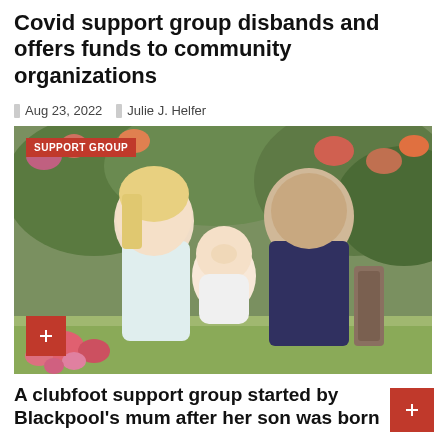Covid support group disbands and offers funds to community organizations
Aug 23, 2022  Julie J. Helfer
[Figure (photo): A couple sitting outdoors in a garden with flowers, holding a baby between them. The woman has blonde hair and wears a white top. The man has tattoos on his arms and wears a dark polo shirt. A red 'SUPPORT GROUP' tag is shown in the top-left corner of the image.]
A clubfoot support group started by Blackpool's mum after her son was born